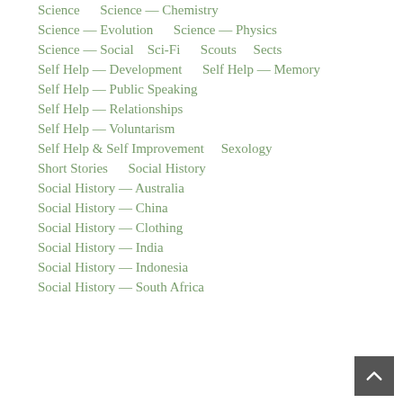Science    Science — Chemistry
Science — Evolution    Science — Physics
Science — Social    Sci-Fi    Scouts    Sects
Self Help — Development    Self Help — Memory
Self Help — Public Speaking
Self Help — Relationships
Self Help — Voluntarism
Self Help & Self Improvement    Sexology
Short Stories    Social History
Social History — Australia
Social History — China
Social History — Clothing
Social History — India
Social History — Indonesia
Social History — South Africa